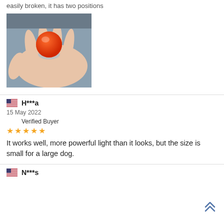easily broken, it has two positions
[Figure (photo): A hand holding a small orange spherical ring with a silver band, photographed from above.]
H***a
15 May 2022
Verified Buyer
★★★★★
It works well, more powerful light than it looks, but the size is small for a large dog.
N***s